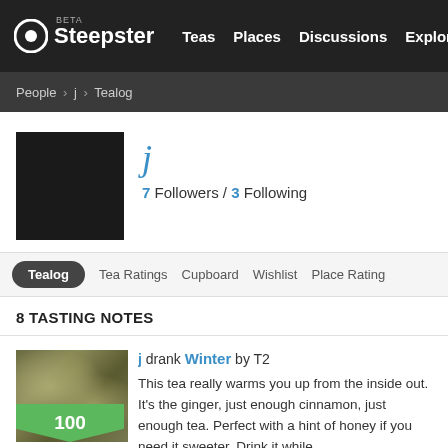Steepster BETA — Teas  Places  Discussions  Explore
People › j › Tealog
j
7 Followers / 3 Following
Tealog  Tea Ratings  Cupboard  Wishlist  Place Ratings
8 TASTING NOTES
j drank Winter by T2
This tea really warms you up from the inside out. It's the ginger, just enough cinnamon, just enough tea. Perfect with a hint of honey if you need it sweeter. Drink it while